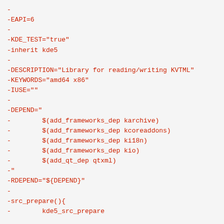-
-EAPI=6
-
-KDE_TEST="true"
-inherit kde5
-
-DESCRIPTION="Library for reading/writing KVTML"
-KEYWORDS="amd64 x86"
-IUSE=""
-
-DEPEND="
-        $(add_frameworks_dep karchive)
-        $(add_frameworks_dep kcoreaddons)
-        $(add_frameworks_dep ki18n)
-        $(add_frameworks_dep kio)
-        $(add_qt_dep qtxml)
-"
-RDEPEND="${DEPEND}"
-
-src_prepare(){
-        kde5_src_prepare